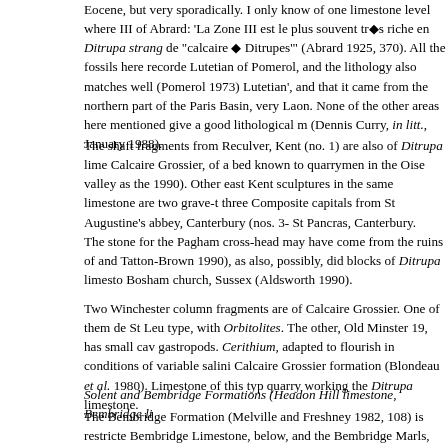Eocene, but very sporadically. I only know of one limestone level where III of Abrard: 'La Zone III est le plus souvent très riche en Ditrupa strang de "calcaire à Ditrupes'" (Abrard 1925, 370). All the fossils here recorde Lutetian of Pomerol, and the lithology also matches well (Pomerol 1973) Lutetian', and that it came from the northern part of the Paris Basin, very Laon. None of the other areas here mentioned give a good lithological m (Dennis Curry, in litt., January 1988).
The shaft fragments from Reculver, Kent (no. 1) are also of Ditrupa lime Calcaire Grossier, of a bed known to quarrymen in the Oise valley as the 1990). Other east Kent sculptures in the same limestone are two grave-t three Composite capitals from St Augustine's abbey, Canterbury (nos. 3- St Pancras, Canterbury.
The stone for the Pagham cross-head may have come from the ruins of and Tatton-Brown 1990), as also, possibly, did blocks of Ditrupa limesto Bosham church, Sussex (Aldsworth 1990).
Two Winchester column fragments are of Calcaire Grossier. One of them de St Leu type, with Orbitolites. The other, Old Minster 19, has small cav gastropods. Cerithium, adapted to flourish in conditions of variable salini Calcaire Grossier formation (Blondeau et al. 1980). Limestone of this typ quarry working the Ditrupa limestone.
Solent and Bembridge Formations (Headon Hill limestone, Bembridge li
The Bembridge Formation (Melville and Freshney 1982, 108) is restricte Bembridge Limestone, below, and the Bembridge Marls, above. The Be of the island and 8 metres thick in the east, contains massive beds of fin gastropods and moulds of nucules of the water plant Chara. The latter a diameter; under the hand-lens their walls show a spiral ornament.